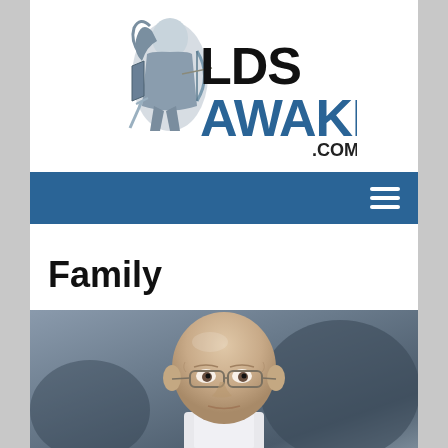[Figure (logo): LDS Awake .com logo with a knight/warrior figure holding a bow, text 'LDS' in black bold and 'AWAKE' in blue bold, '.COM' in smaller dark text]
[Figure (other): Blue navigation bar with hamburger menu icon (three horizontal white lines) on the right side]
Family
[Figure (photo): Portrait photo of an older bald man wearing glasses, against a grey/dark blurred background]